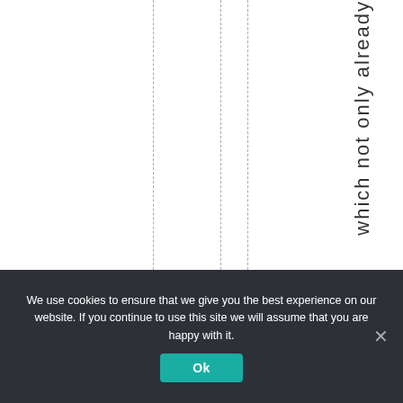[Figure (other): White area with three vertical dashed lines and the text 'which not only already' written vertically on the right side]
We use cookies to ensure that we give you the best experience on our website. If you continue to use this site we will assume that you are happy with it.